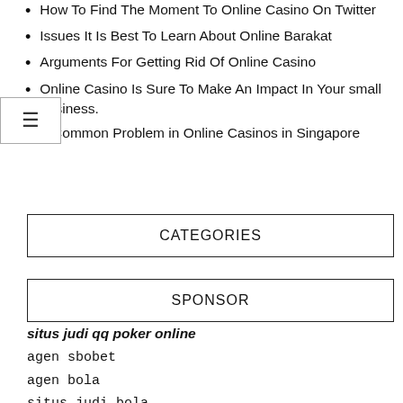How To Find The Moment To Online Casino On Twitter
Issues It Is Best To Learn About Online Barakat
Arguments For Getting Rid Of Online Casino
Online Casino Is Sure To Make An Impact In Your small business.
A Common Problem in Online Casinos in Singapore
CATEGORIES
SPONSOR
situs judi qq poker online
agen sbobet
agen bola
situs judi bola